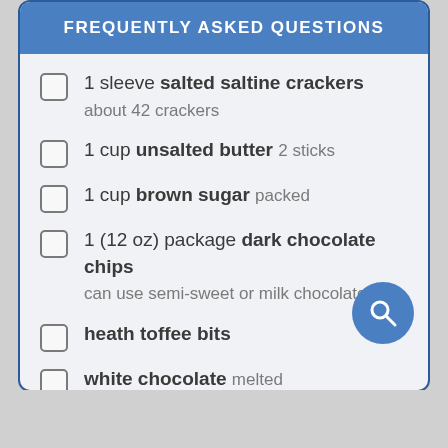FREQUENTLY ASKED QUESTIONS
1 sleeve salted saltine crackers about 42 crackers
1 cup unsalted butter 2 sticks
1 cup brown sugar packed
1 (12 oz) package dark chocolate chips can use semi-sweet or milk chocolate
heath toffee bits
white chocolate melted